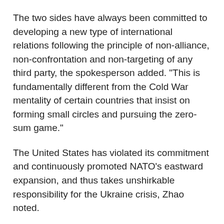The two sides have always been committed to developing a new type of international relations following the principle of non-alliance, non-confrontation and non-targeting of any third party, the spokesperson added. "This is fundamentally different from the Cold War mentality of certain countries that insist on forming small circles and pursuing the zero-sum game."
The United States has violated its commitment and continuously promoted NATO's eastward expansion, and thus takes unshirkable responsibility for the Ukraine crisis, Zhao noted.
He added that while the UN and the international community are calling for an end to the conflict, the United States continues to add fuel to the flames, clamoring to fight to the last Ukrainian.
The United States has also continued to provide funds and weapons to Ukraine, the spokesperson said.